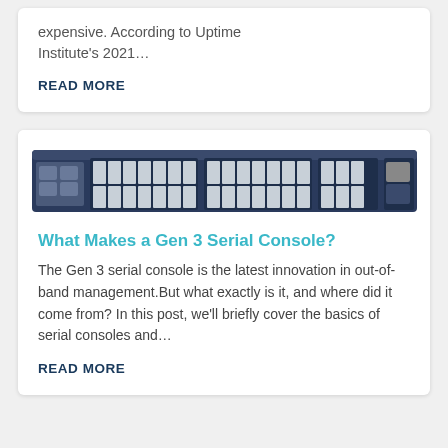expensive. According to Uptime Institute's 2021…
READ MORE
[Figure (photo): Network switch hardware showing front panel with multiple ethernet ports and SFP slots]
What Makes a Gen 3 Serial Console?
The Gen 3 serial console is the latest innovation in out-of-band management.But what exactly is it, and where did it come from? In this post, we'll briefly cover the basics of serial consoles and…
READ MORE